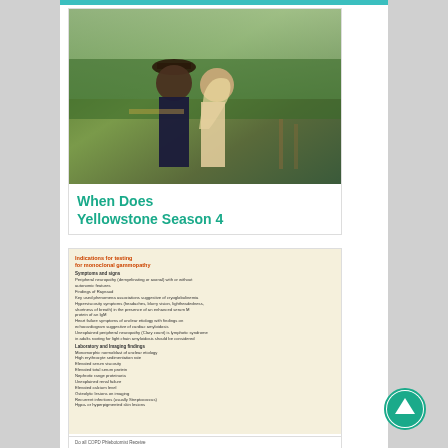[Figure (photo): Photo of a man and woman couple outdoors in a field with trees in background, man wearing a cowboy hat]
When Does Yellowstone Season 4
[Figure (infographic): Medical infographic listing indications for testing for monoclonal gammopathy, including symptoms and signs and laboratory and imaging findings]
What Does A High Kappa Light Chain
Do all COPD Phlebotomist Receive